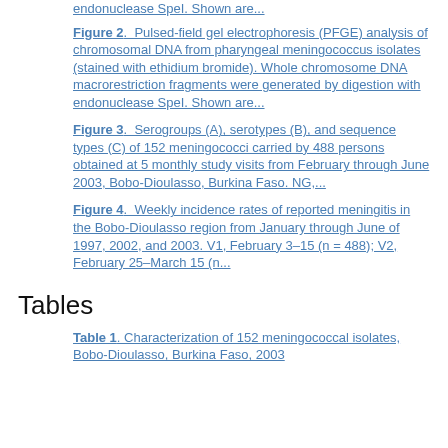endonuclease SpeI. Shown are...
Figure 2. Pulsed-field gel electrophoresis (PFGE) analysis of chromosomal DNA from pharyngeal meningococcus isolates (stained with ethidium bromide). Whole chromosome DNA macrorestriction fragments were generated by digestion with endonuclease SpeI. Shown are...
Figure 3. Serogroups (A), serotypes (B), and sequence types (C) of 152 meningococci carried by 488 persons obtained at 5 monthly study visits from February through June 2003, Bobo-Dioulasso, Burkina Faso. NG,...
Figure 4. Weekly incidence rates of reported meningitis in the Bobo-Dioulasso region from January through June of 1997, 2002, and 2003. V1, February 3–15 (n = 488); V2, February 25–March 15 (n...
Tables
Table 1. Characterization of 152 meningococcal isolates, Bobo-Dioulasso, Burkina Faso, 2003